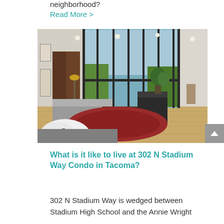neighborhood?
Read More >
[Figure (photo): Interior living room of a modern condo with floor-to-ceiling glass windows overlooking a scenic water view. Features grey sofas, a patterned rug, mid-century modern chairs, hardwood floors, and plants.]
What is it like to live at 302 N Stadium Way Condo in Tacoma?
302 N Stadium Way is wedged between Stadium High School and the Annie Wright